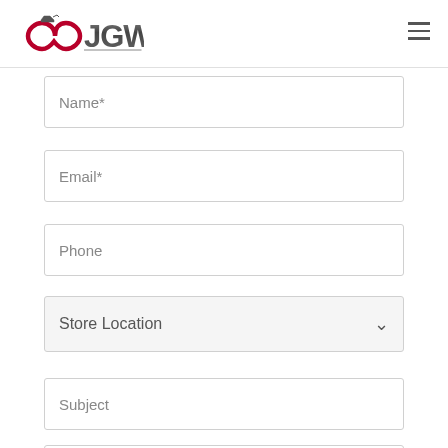[Figure (logo): JGW logo with red infinity/tractor symbol and bold grey JGW text]
Name*
Email*
Phone
Store Location
Subject
Message